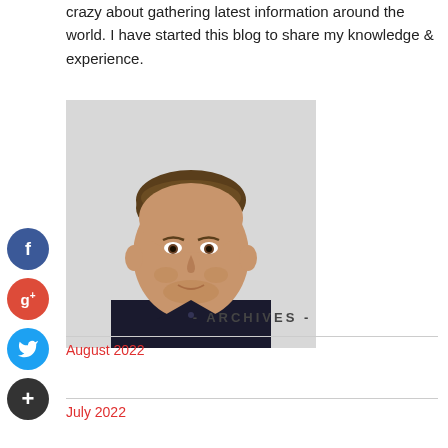crazy about gathering latest information around the world. I have started this blog to share my knowledge & experience.
[Figure (photo): Headshot photo of a young man with short brown hair, beard stubble, wearing a dark shirt, against a light grey background]
- ARCHIVES -
August 2022
July 2022